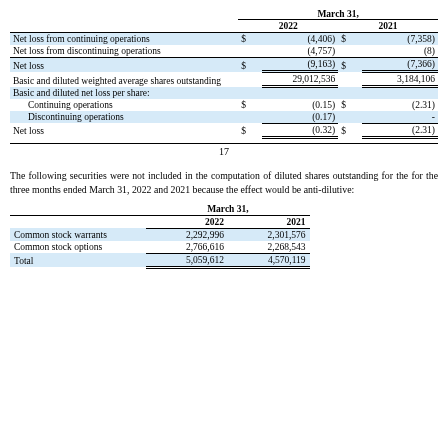|  | March 31, 2022 | March 31, 2021 |
| --- | --- | --- |
| Net loss from continuing operations | $ (4,406) | $ (7,358) |
| Net loss from discontinuing operations | (4,757) | (8) |
| Net loss | $ (9,163) | $ (7,366) |
| Basic and diluted weighted average shares outstanding | 29,012,536 | 3,184,106 |
| Basic and diluted net loss per share: |  |  |
| Continuing operations | $ (0.15) | $ (2.31) |
| Discontinuing operations | (0.17) | - |
| Net loss | $ (0.32) | $ (2.31) |
17
The following securities were not included in the computation of diluted shares outstanding for the for the three months ended March 31, 2022 and 2021 because the effect would be anti-dilutive:
|  | March 31, 2022 | March 31, 2021 |
| --- | --- | --- |
| Common stock warrants | 2,292,996 | 2,301,576 |
| Common stock options | 2,766,616 | 2,268,543 |
| Total | 5,059,612 | 4,570,119 |